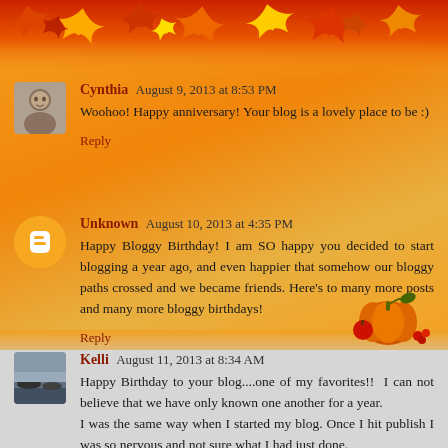[Figure (illustration): Autumn/fall leaves decorative strip at the top of the page with orange and red maple leaves]
Cynthia  August 9, 2013 at 8:53 PM
Woohoo! Happy anniversary! Your blog is a lovely place to be :)
Reply
Unknown  August 10, 2013 at 4:35 PM
Happy Bloggy Birthday! I am SO happy you decided to start blogging a year ago, and even happier that somehow our bloggy paths crossed and we became friends. Here's to many more posts and many more bloggy birthdays!
Reply
[Figure (illustration): Decorative pumpkin and autumn harvest arrangement in lower right area]
Kelli  August 11, 2013 at 8:34 AM
Happy Birthday to your blog....one of my favorites!!  I can not believe that we have only known one another for a year.
I was the same way when I started my blog. Once I hit publish I was so nervous and not sure what I had just done.